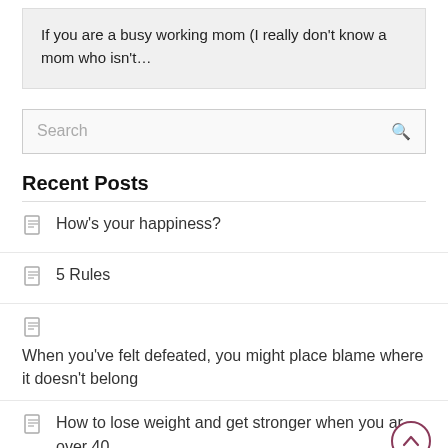If you are a busy working mom (I really don't know a mom who isn't...
Search
Recent Posts
How's your happiness?
5 Rules
When you've felt defeated, you might place blame where it doesn't belong
How to lose weight and get stronger when you ar over 40